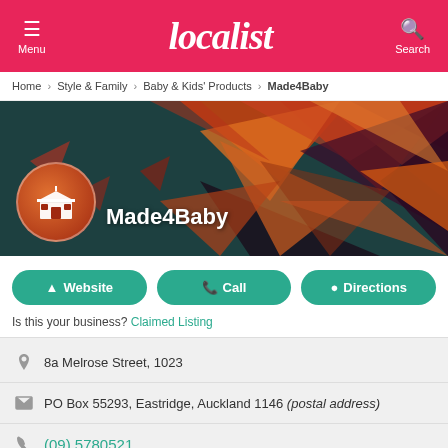Menu | Localist | Search
Home > Style & Family > Baby & Kids' Products > Made4Baby
[Figure (illustration): Hero banner with colorful geometric triangle pattern background in red/orange/teal. Circular store logo on left with shop icon. Title 'Made4Baby' in white bold text.]
Website | Call | Directions
Is this your business? Claimed Listing
8a Melrose Street, 1023
PO Box 55293, Eastridge, Auckland 1146 (postal address)
(09) 5780521